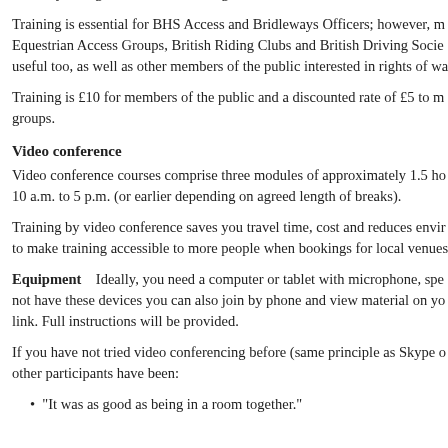all horse owners and riders. Access training days are a great way of learning around your rights to ride and carriage drive.
Training is essential for BHS Access and Bridleways Officers; however, members of Equestrian Access Groups, British Riding Clubs and British Driving Societies will find it useful too, as well as other members of the public interested in rights of way.
Training is £10 for members of the public and a discounted rate of £5 to members of the groups.
Video conference
Video conference courses comprise three modules of approximately 1.5 hours, running from 10 a.m. to 5 p.m. (or earlier depending on agreed length of breaks).
Training by video conference saves you travel time, cost and reduces environmental impact. It aims to make training accessible to more people when bookings for local venues are not viable.
Equipment    Ideally, you need a computer or tablet with microphone, speakers and camera. If you do not have these devices you can also join by phone and view material on your computer via a web link. Full instructions will be provided.
If you have not tried video conferencing before (same principle as Skype or Zoom), comments from other participants have been:
"It was as good as being in a room together."